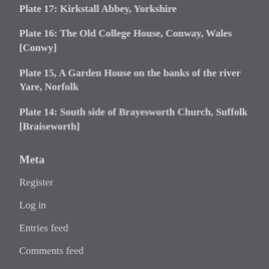Plate 17: Kirkstall Abbey, Yorkshire
Plate 16: The Old College House, Conway, Wales [Conwy]
Plate 15, A Garden House on the banks of the river Yare, Norfolk
Plate 14: South side of Brayesworth Church, Suffolk [Braiseworth]
Meta
Register
Log in
Entries feed
Comments feed
WordPress.com